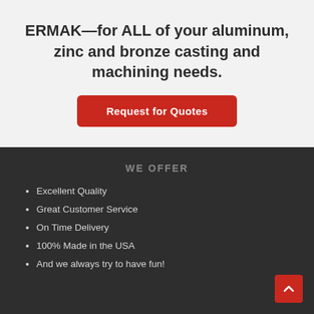ERMAK—for ALL of your aluminum, zinc and bronze casting and machining needs.
Request for Quotes
WE OFFER
Excellent Quality
Great Customer Service
On Time Delivery
100% Made in the USA
And we always try to have fun!